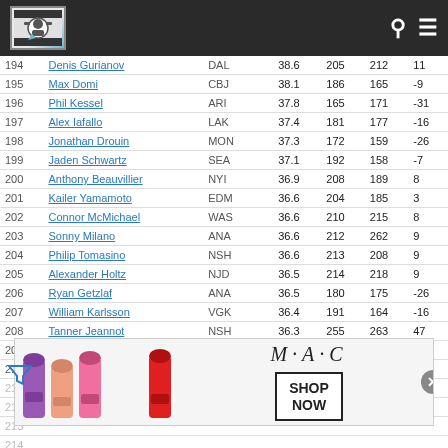Sports stats website header with logo, search icon, and menu icon
| # | Player | Team |  | Score | Col5 | Col6 | Col7 |
| --- | --- | --- | --- | --- | --- | --- | --- |
| 194 | Denis Gurianov | DAL |  | 38.6 | 205 | 212 | 11 |
| 195 | Max Domi | CBJ |  | 38.1 | 186 | 165 | -9 |
| 196 | Phil Kessel | ARI |  | 37.8 | 165 | 171 | -31 |
| 197 | Alex Iafallo | LAK |  | 37.4 | 181 | 177 | -16 |
| 198 | Jonathan Drouin | MON |  | 37.3 | 172 | 159 | -26 |
| 199 | Jaden Schwartz | SEA |  | 37.1 | 192 | 158 | -7 |
| 200 | Anthony Beauvillier | NYI |  | 36.9 | 208 | 189 | 8 |
| 201 | Kailer Yamamoto | EDM |  | 36.6 | 204 | 185 | 3 |
| 202 | Connor McMichael | WAS |  | 36.6 | 210 | 215 | 8 |
| 203 | Sonny Milano | ANA |  | 36.6 | 212 | 262 | 9 |
| 204 | Philip Tomasino | NSH |  | 36.6 | 213 | 208 | 9 |
| 205 | Alexander Holtz | NJD |  | 36.5 | 214 | 218 | 9 |
| 206 | Ryan Getzlaf | ANA |  | 36.5 | 180 | 175 | -26 |
| 207 | William Karlsson | VGK |  | 36.4 | 191 | 164 | -16 |
| 208 | Tanner Jeannot | NSH |  | 36.3 | 255 | 263 | 47 |
| 209 | Alexandre Texier | CBJ |  | 36.3 | 201 | 184 | -8 |
| 210 | Isac Lundestrom | ANA |  | 36.1 | 216 | 221 | 6 |
| 211 | Noah Dobson | NYI |  | 36.1 | 201 | 295 | 80 |
| 212 |  | EDM |  | 36.3 |  | 179 |  |
| 213 |  |  |  |  |  |  |  |
| 214 |  |  |  |  |  |  |  |
| 215 |  |  |  |  |  |  |  |
| 216 | Anders Lee | NYI |  | 36.4 | 207 | 192 | 9 |
[Figure (advertisement): MAC cosmetics advertisement showing lipsticks and SHOP NOW button]